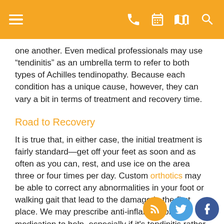[Navigation bar with menu, phone, calendar, map, and search icons]
one another. Even medical professionals may use “tendinitis” as an umbrella term to refer to both types of Achilles tendinopathy. Because each condition has a unique cause, however, they can vary a bit in terms of treatment and recovery time.
Road to Recovery
It is true that, in either case, the initial treatment is fairly standard—get off your feet as soon and as often as you can, rest, and use ice on the area three or four times per day. Custom orthotics may be able to correct any abnormalities in your foot or walking gait that lead to the damage in the first place. We may prescribe anti-inflammatory medication to help, especially if it's tendinitis rather than tendinosis.
Since Achilles tendinosis is more associated with chronic conditions and involves actual structural changes to the tendon itself, it's a little bit tougher to treat and can take much longer to heal completely—weeks to months, rather than days or weeks. More advanced (although still conservative) care—stretching, massage, and physical therapy may be especially helpful in cases